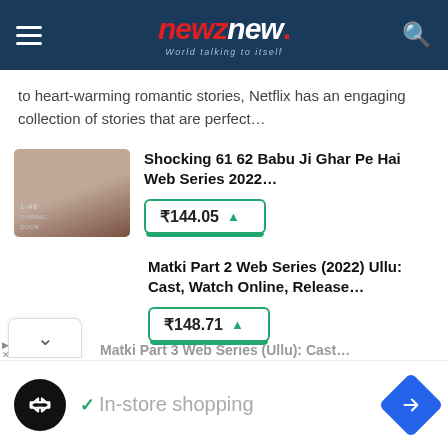newznew. — World talking to itself
to heart-warming romantic stories, Netflix has an engaging collection of stories that are perfect...
Shocking 61 62 Babu Ji Ghar Pe Hai Web Series 2022...
₹144.05 ▲
Matki Part 2 Web Series (2022) Ullu: Cast, Watch Online, Release...
₹148.71 ▲
Matki Part 3 Web Series (Ullu): Cast...
In-store shopping